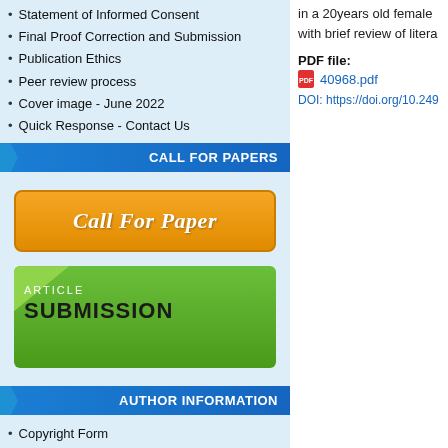Statement of Informed Consent
Final Proof Correction and Submission
Publication Ethics
Peer review process
Cover image - June 2022
Quick Response - Contact Us
CALL FOR PAPERS
[Figure (illustration): Orange rounded-rectangle button with text 'Call For Paper' in white italic serif font]
[Figure (illustration): Green rounded-rectangle button with 'ARTICLE' in small white uppercase text and 'SUBMISSION' in large black bold uppercase text, with a lighter green triangle in top-left corner]
AUTHOR INFORMATION
Copyright Form
Join Editor & Peer Reviewers
Paper Submission
in a 20years old female with brief review of litera
PDF file:
40968.pdf
DOI: https://doi.org/10.249